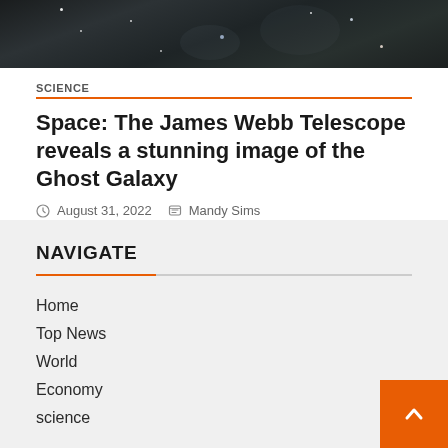[Figure (photo): Space/galaxy image strip at top of page showing dark cosmic background with stars and nebula]
SCIENCE
Space: The James Webb Telescope reveals a stunning image of the Ghost Galaxy
August 31, 2022   Mandy Sims
NAVIGATE
Home
Top News
World
Economy
science